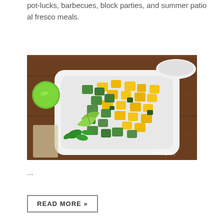pot-lucks, barbecues, block parties, and summer patio al fresco meals.
[Figure (photo): A white square plate with a mango and cucumber salad garnished with lime wedges and fresh cilantro. A whole lime is visible in the upper left, along with a white bowl in the background. The plate is set on a wooden surface. Watermark reads 'UrbnSpice' in the lower right.]
...
READ MORE »